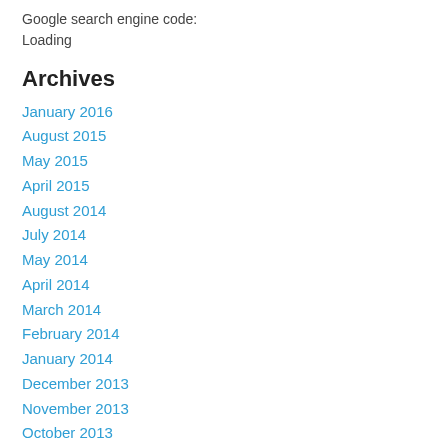Google search engine code:
Loading
Archives
January 2016
August 2015
May 2015
April 2015
August 2014
July 2014
May 2014
April 2014
March 2014
February 2014
January 2014
December 2013
November 2013
October 2013
September 2013
August 2013